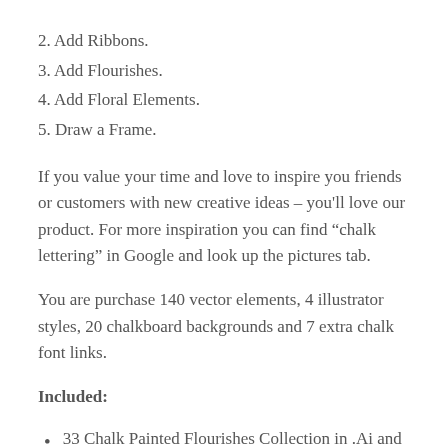2. Add Ribbons.
3. Add Flourishes.
4. Add Floral Elements.
5. Draw a Frame.
If you value your time and love to inspire you friends or customers with new creative ideas – you'll love our product. For more inspiration you can find “chalk lettering” in Google and look up the pictures tab.
You are purchase 140 vector elements, 4 illustrator styles, 20 chalkboard backgrounds and 7 extra chalk font links.
Included:
33 Chalk Painted Flourishes Collection in .Ai and .Psd format files
29 Chalk Painted Ribbons Collection in .Ai and .Psd format